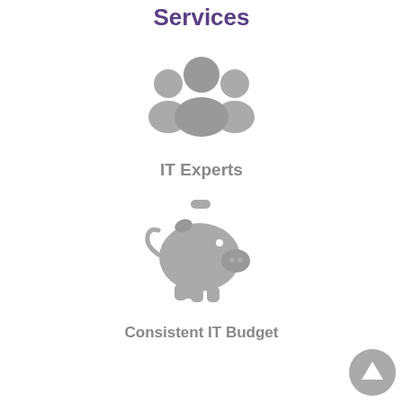Services
[Figure (illustration): Gray icon of a group of people representing IT experts]
IT Experts
[Figure (illustration): Gray piggy bank icon representing consistent IT budget]
Consistent IT Budget
[Figure (illustration): Gray circular back-to-top button arrow in bottom right corner]